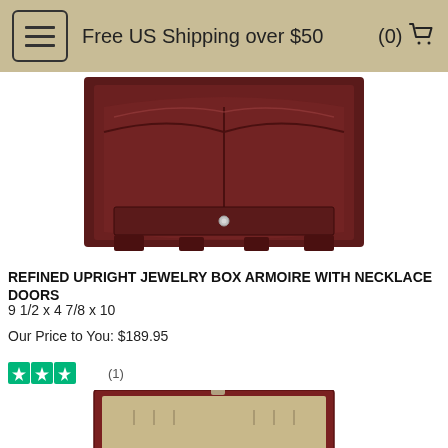Free US Shipping over $50  (0)
[Figure (photo): Top portion of a dark mahogany/cherry wood upright jewelry box armoire with necklace doors, silver hardware knob visible, cropped at top]
REFINED UPRIGHT JEWELRY BOX ARMOIRE WITH NECKLACE DOORS
9 1/2 x 4 7/8 x 10
Our Price to You: $189.95
[Figure (other): Three green star rating icons (Trustpilot style) followed by (1) review count]
[Figure (photo): Open cherry wood jewelry chest/box with cream interior lining, multiple compartments visible, lid open showing necklace hooks at top, lower drawer pulled open showing ring/earring slots]